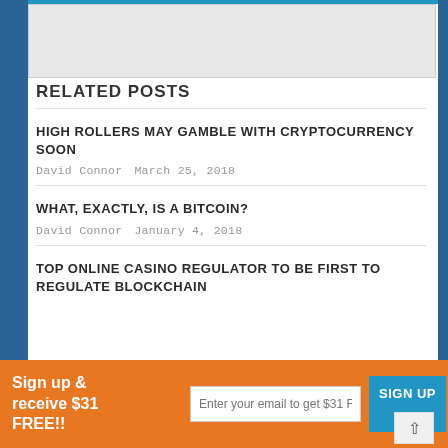RELATED POSTS
HIGH ROLLERS MAY GAMBLE WITH CRYPTOCURRENCY SOON
David Connor   March 25, 2018
WHAT, EXACTLY, IS A BITCOIN?
David Connor   January 4, 2018
TOP ONLINE CASINO REGULATOR TO BE FIRST TO REGULATE BLOCKCHAIN
Sign up & receive $31 FREE!!
Enter your email to get $31 FREE!
SIGN UP